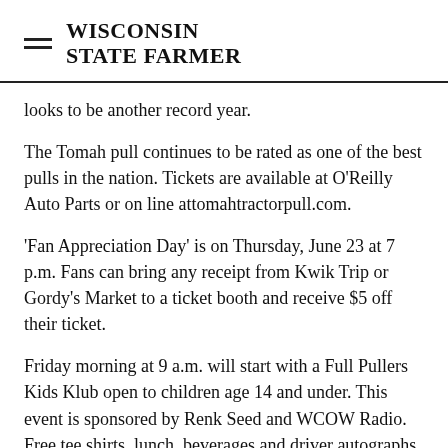WISCONSIN STATE FARMER
looks to be another record year.
The Tomah pull continues to be rated as one of the best pulls in the nation. Tickets are available at O'Reilly Auto Parts or on line attomahtractorpull.com.
'Fan Appreciation Day' is on Thursday, June 23 at 7 p.m. Fans can bring any receipt from Kwik Trip or Gordy's Market to a ticket booth and receive $5 off their ticket.
Friday morning at 9 a.m. will start with a Full Pullers Kids Klub open to children age 14 and under. This event is sponsored by Renk Seed and WCOW Radio. Free tee shirts, lunch, beverages and driver autographs make this event fun for